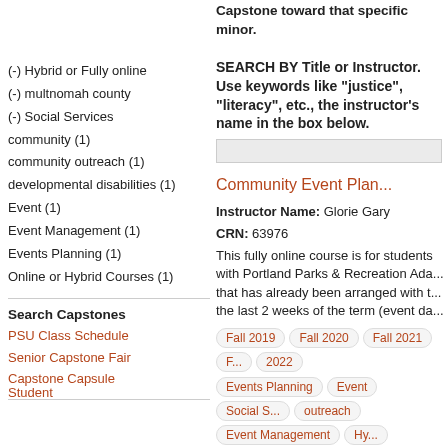Capstone toward that specific minor.
(-) Hybrid or Fully online
(-) multnomah county
(-) Social Services
community (1)
community outreach (1)
developmental disabilities (1)
Event (1)
Event Management (1)
Events Planning (1)
Online or Hybrid Courses (1)
Search Capstones
PSU Class Schedule
Senior Capstone Fair
Capstone Capsule
Student
Capstone toward that specific minor.
SEARCH BY Title or Instructor. Use keywords like "justice", "literacy", etc., the instructor's name in the box below.
Community Event Planning
Instructor Name: Glorie Gary
CRN: 63976
This fully online course is for students with Portland Parks & Recreation Adaptive that has already been arranged with the last 2 weeks of the term (event da
Fall 2019  Fall 2020  Fall 2021  Fall 2022
Events Planning  Event  Social Services outreach  Event Management  Hybrid or Fully online